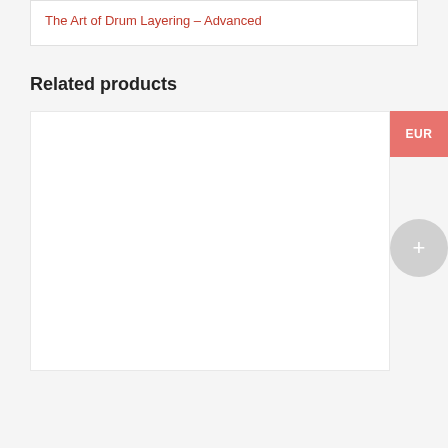The Art of Drum Layering – Advanced
Related products
[Figure (screenshot): Product card area with EUR currency button and plus/add button, white card on light gray background]